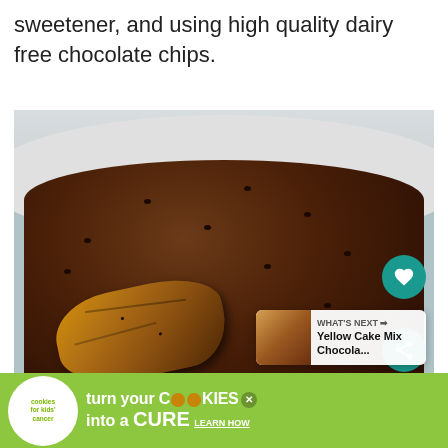sweetener, and using high quality dairy free chocolate chips.
[Figure (photo): Overhead view of a white bowl containing chocolate chip cookie dough or baked cookie in a bowl, with a spoon scooping out a golden-brown cookie portion. Social media UI overlaid: heart/like button showing 1.2K, share button, and a 'What's Next' card showing Yellow Cake Mix Chocola...]
[Figure (infographic): Green advertisement banner for Cookies for Kids' Cancer: 'turn your COOKIES into a CURE LEARN HOW' with the organization's logo on the left and a close (X) button.]